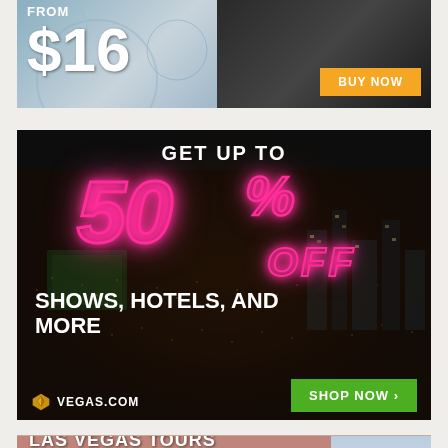[Figure (infographic): Top advertisement banner showing 'FROM $16' price in white text with a BUY NOW orange button, split background with blue-grey on left and dark motorcycle image on right]
[Figure (infographic): Vegas.com advertisement on dark city aerial background. Text reads: GET UP TO 50% OFF SHOWS, HOTELS, AND MORE. Vegas.com logo bottom left, green SHOP NOW button bottom right. 50% in neon pink style.]
[Figure (infographic): Bottom advertisement banner showing LAS VEGAS TOURS text over a reddish-pink background with a building/pawn shop visible on the right side]